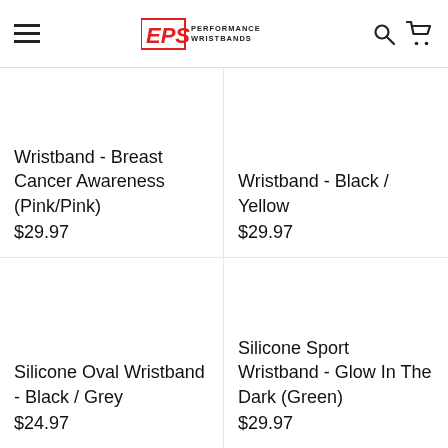EPS Performance Wristbands
Wristband - Breast Cancer Awareness (Pink/Pink)
$29.97
Wristband - Black / Yellow
$29.97
Silicone Oval Wristband - Black / Grey
$24.97
Silicone Sport Wristband - Glow In The Dark (Green)
$29.97